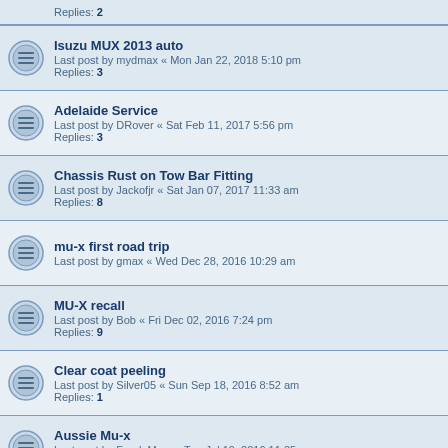Replies: 2
Isuzu MUX 2013 auto
Last post by mydmax « Mon Jan 22, 2018 5:10 pm
Replies: 3
Adelaide Service
Last post by DRover « Sat Feb 11, 2017 5:56 pm
Replies: 3
Chassis Rust on Tow Bar Fitting
Last post by Jackofjr « Sat Jan 07, 2017 11:33 am
Replies: 8
mu-x first road trip
Last post by gmax « Wed Dec 28, 2016 10:29 am
MU-X recall
Last post by Bob « Fri Dec 02, 2016 7:24 pm
Replies: 9
Clear coat peeling
Last post by Silver05 « Sun Sep 18, 2016 8:52 am
Replies: 1
Aussie Mu-x
Last post by Freak Mu-x « Tue Jul 19, 2016 11:35 pm
Replies: 2
21 topics • Page 1 of 1